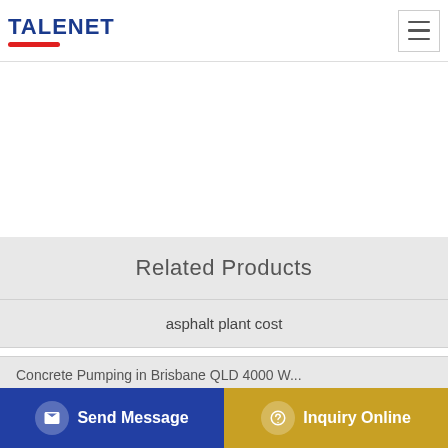TALENET
Related Products
asphalt plant cost
120 m179 h concrete batching plant for sale in misamis oriental
Bulk Cement Storage Silo for Cement Factory
Concrete Pumping in Brisbane QLD 4000 W...